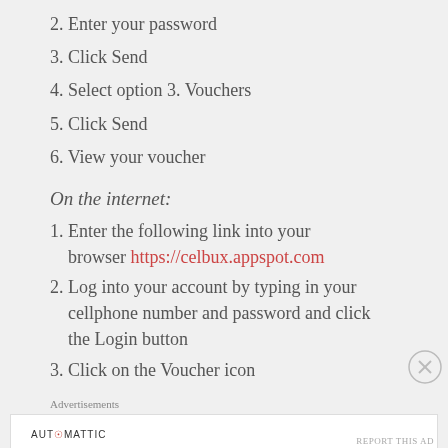2. Enter your password
3. Click Send
4. Select option 3. Vouchers
5. Click Send
6. View your voucher
On the internet:
1. Enter the following link into your browser https://celbux.appspot.com
2. Log into your account by typing in your cellphone number and password and click the Login button
3. Click on the Voucher icon
Advertisements
[Figure (screenshot): Advertisement banner: AUTOMATTIC logo with tagline 'Build a better web and a better world.']